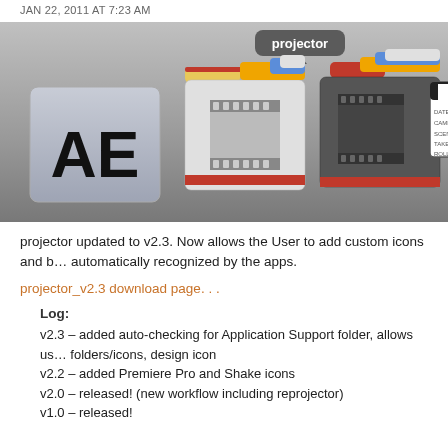JAN 22, 2011 AT 7:23 AM
[Figure (screenshot): Screenshot of projector app icons: After Effects icon, two film folder icons (light and dark), a clapperboard icon, and another icon, with a 'projector' label tooltip above the second folder icon.]
projector updated to v2.3. Now allows the User to add custom icons and b... automatically recognized by the apps.
projector_v2.3 download page. . .
Log:
v2.3 – added auto-checking for Application Support folder, allows us... folders/icons, design icon
v2.2 – added Premiere Pro and Shake icons
v2.0 – released! (new workflow including reprojector)
v1.0 – released!